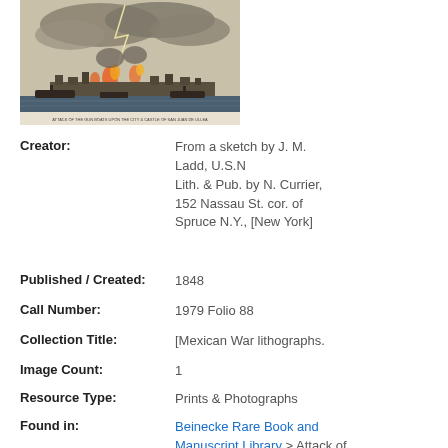[Figure (photo): Historical lithograph depicting an attack scene on a city and castle, showing ships, fire, lightning, and waterfront buildings in a stormy scene. A caption appears below the image.]
Creator: From a sketch by J. M. Ladd, U.S.N Lith. & Pub. by N. Currier, 152 Nassau St. cor. of Spruce N.Y., [New York]
Published / Created: 1848
Call Number: 1979 Folio 88
Collection Title: [Mexican War lithographs.
Image Count: 1
Resource Type: Prints & Photographs
Found in: Beinecke Rare Book and Manuscript Library > Attack of the Gun Boats upon the City, & Castle of San Juan de Ullea, 467...